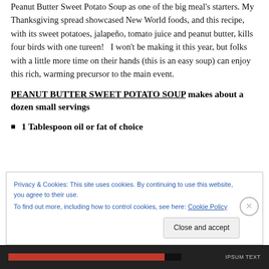Peanut Butter Sweet Potato Soup as one of the big meal's starters. My Thanksgiving spread showcased New World foods, and this recipe, with its sweet potatoes, jalapeño, tomato juice and peanut butter, kills four birds with one tureen!   I won't be making it this year, but folks with a little more time on their hands (this is an easy soup) can enjoy this rich, warming precursor to the main event.
PEANUT BUTTER SWEET POTATO SOUP makes about a dozen small servings
1 Tablespoon oil or fat of choice
Privacy & Cookies: This site uses cookies. By continuing to use this website, you agree to their use. To find out more, including how to control cookies, see here: Cookie Policy